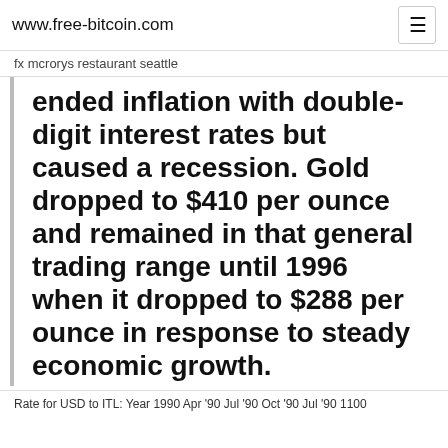www.free-bitcoin.com
fx mcrorys restaurant seattle
ended inflation with double-digit interest rates but caused a recession. Gold dropped to $410 per ounce and remained in that general trading range until 1996 when it dropped to $288 per ounce in response to steady economic growth.
Rate for USD to ITL: Year 1990 Apr '90 Jul '90 Oct '90 Jul '90 1100